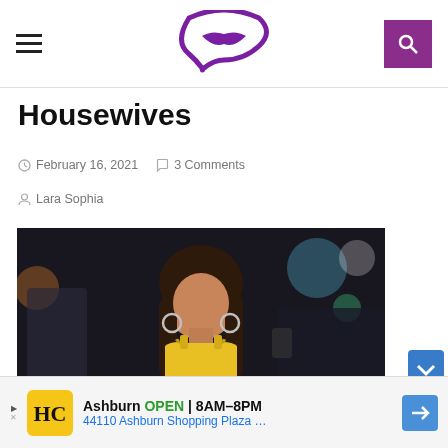Housewives gossip site header with hamburger menu, lip logo, and search button
Housewives
February 16, 2021  3 Comments
Lara Sophia
[Figure (photo): Woman in yellow dress with hoop earrings, dark hair, standing at night event]
Ashburn OPEN 8AM–8PM 44110 Ashburn Shopping Plaza …